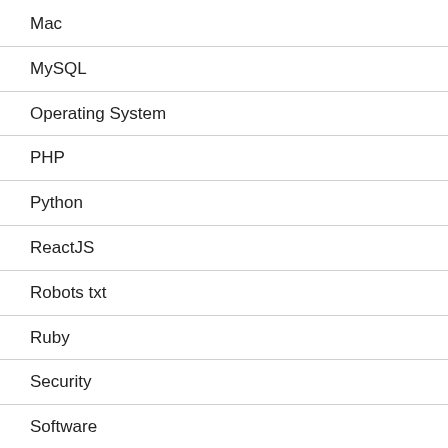Mac
MySQL
Operating System
PHP
Python
ReactJS
Robots txt
Ruby
Security
Software
SSH (Secure Shell)